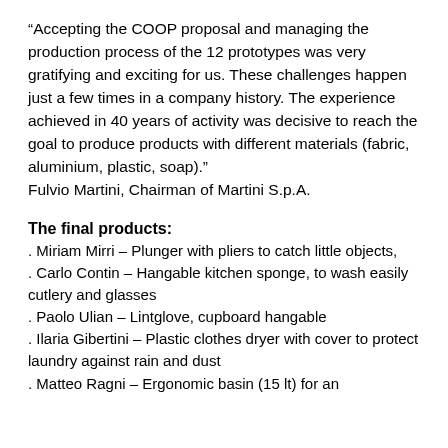“Accepting the COOP proposal and managing the production process of the 12 prototypes was very gratifying and exciting for us. These challenges happen just a few times in a company history. The experience achieved in 40 years of activity was decisive to reach the goal to produce products with different materials (fabric, aluminium, plastic, soap).”
Fulvio Martini, Chairman of Martini S.p.A.
The final products:
. Miriam Mirri – Plunger with pliers to catch little objects,
. Carlo Contin – Hangable kitchen sponge, to wash easily cutlery and glasses
. Paolo Ulian – Lintglove, cupboard hangable
. Ilaria Gibertini – Plastic clothes dryer with cover to protect laundry against rain and dust
. Matteo Ragni – Ergonomic basin (15 lt) for an